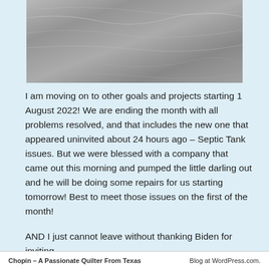[Figure (photo): Grayscale photograph showing a textured gray fabric or surface with subtle creases and wave-like lines.]
I am moving on to other goals and projects starting 1 August 2022! We are ending the month with all problems resolved, and that includes the new one that appeared uninvited about 24 hours ago – Septic Tank issues. But we were blessed with a company that came out this morning and pumped the little darling out and he will be doing some repairs for us starting tomorrow! Best to meet those issues on the first of the month!
AND I just cannot leave without thanking Biden for inviting...
Chopin – A Passionate Quilter From Texas   Blog at WordPress.com.